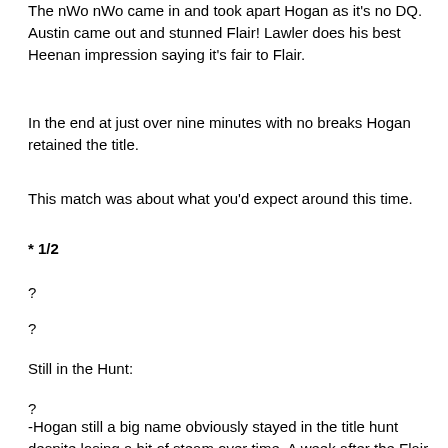The nWo nWo came in and took apart Hogan as it's no DQ. Austin came out and stunned Flair! Lawler does his best Heenan impression saying it's fair to Flair.
In the end at just over nine minutes with no breaks Hogan retained the title.
This match was about what you'd expect around this time.
* 1/2
?
?
Still in the Hunt:
?
-Hogan still a big name obviously stayed in the title hunt despite losing a bit of steam over time. A week after the Flair match Taker defeated Hogan at Judgment Day for the title.